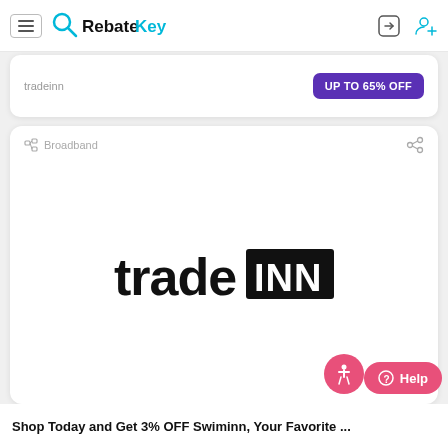RebateKey - navigation header with hamburger menu, logo, sign-in and sign-up icons
tradeinn — UP TO 65% OFF
Broadband
[Figure (logo): tradeINN logo in black bold text with INN in a black rectangle]
Shop Today and Get 3% OFF Swiminn, Your Favorite ...